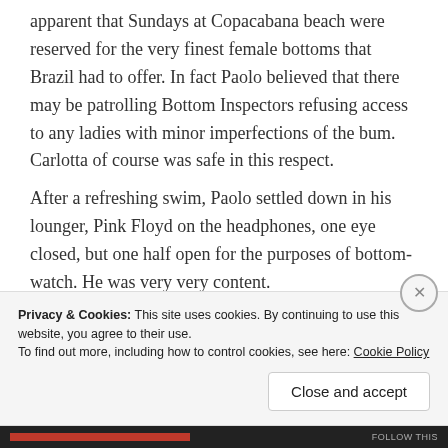apparent that Sundays at Copacabana beach were reserved for the very finest female bottoms that Brazil had to offer. In fact Paolo believed that there may be patrolling Bottom Inspectors refusing access to any ladies with minor imperfections of the bum. Carlotta of course was safe in this respect.
After a refreshing swim, Paolo settled down in his lounger, Pink Floyd on the headphones, one eye closed, but one half open for the purposes of bottom-watch. He was very very content.
Privacy & Cookies: This site uses cookies. By continuing to use this website, you agree to their use.
To find out more, including how to control cookies, see here: Cookie Policy
Close and accept